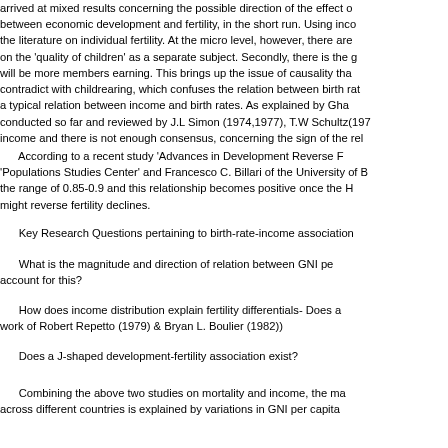arrived at mixed results concerning the possible direction of the effect between economic development and fertility, in the short run. Using inc the literature on individual fertility. At the micro level, however, there are on the 'quality of children' as a separate subject. Secondly, there is the will be more members earning. This brings up the issue of causality tha contradict with childrearing, which confuses the relation between birth rat a typical relation between income and birth rates. As explained by Gha conducted so far and reviewed by J.L Simon (1974,1977), T.W Schultz(197 income and there is not enough consensus, concerning the sign of the rel
According to a recent study 'Advances in Development Reverse F 'Populations Studies Center' and Francesco C. Billari of the University of B the range of 0.85-0.9 and this relationship becomes positive once the H might reverse fertility declines.
Key Research Questions pertaining to birth-rate-income association
What is the magnitude and direction of relation between GNI pe account for this?
How does income distribution explain fertility differentials- Does a work of Robert Repetto (1979) & Bryan L. Boulier (1982))
Does a J-shaped development-fertility association exist?
Combining the above two studies on mortality and income, the ma across different countries is explained by variations in GNI per capita